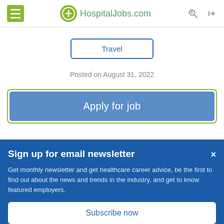HospitalJobs.com
Travel
Posted on August 31, 2022
Apply for job
Sign up for email newsletter
Get monthly newsletter and get healthcare career advice, be the first to find out about the news and trends in the industry,  and get to know featured employers.
Subscribe now